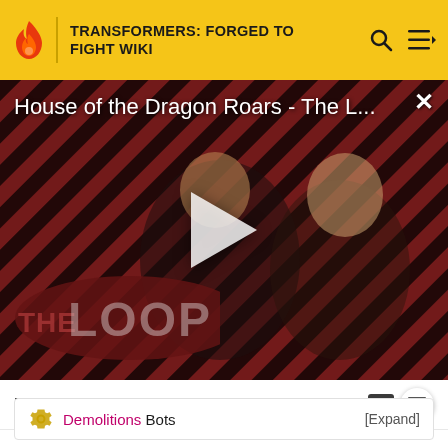TRANSFORMERS: FORGED TO FIGHT WIKI
[Figure (screenshot): Video thumbnail for 'House of the Dragon Roars - The L...' showing two characters against a diagonal stripe background with a play button overlay and 'THE LOOP' badge]
House of the Dragon Roars - The Loop
Demolitions Bots [Expand]